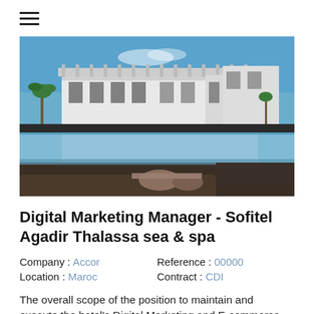≡ (hamburger menu icon)
[Figure (photo): Photograph of Sofitel Agadir Thalassa sea & spa hotel exterior with modern white architecture, pool with reflections, palm trees, and lounge chairs in the foreground under a blue sky.]
Digital Marketing Manager - Sofitel Agadir Thalassa sea & spa
Company : Accor   Reference : 00000
Location : Maroc   Contract : CDI
The overall scope of the position to maintain and execute the hotel's Digital Marketing and E-commerce activities but not